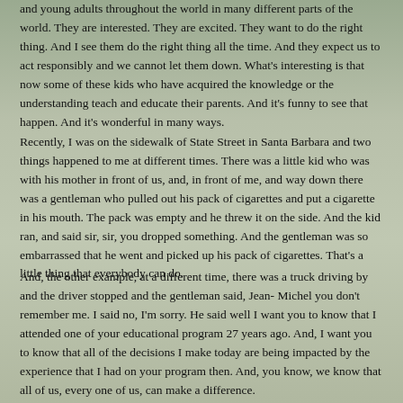and young adults throughout the world in many different parts of the world. They are interested. They are excited. They want to do the right thing. And I see them do the right thing all the time. And they expect us to act responsibly and we cannot let them down. What's interesting is that now some of these kids who have acquired the knowledge or the understanding teach and educate their parents. And it's funny to see that happen. And it's wonderful in many ways.
Recently, I was on the sidewalk of State Street in Santa Barbara and two things happened to me at different times. There was a little kid who was with his mother in front of us, and, in front of me, and way down there was a gentleman who pulled out his pack of cigarettes and put a cigarette in his mouth. The pack was empty and he threw it on the side. And the kid ran, and said sir, sir, you dropped something. And the gentleman was so embarrassed that he went and picked up his pack of cigarettes. That's a little thing that everybody can do.
And, the other example, at a different time, there was a truck driving by and the driver stopped and the gentleman said, Jean- Michel you don't remember me. I said no, I'm sorry. He said well I want you to know that I attended one of your educational program 27 years ago. And, I want you to know that all of the decisions I make today are being impacted by the experience that I had on your program then. And, you know, we know that all of us, every one of us, can make a difference.